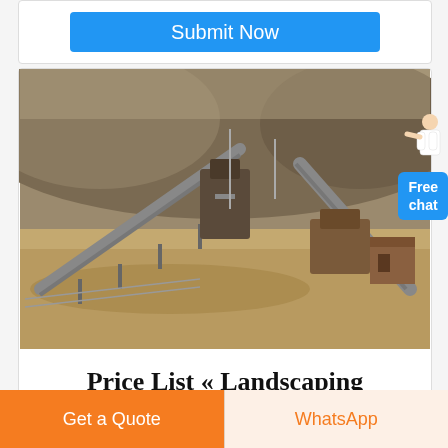Submit Now
[Figure (photo): Industrial mining/quarry site with conveyor belts and heavy machinery on sandy/rocky terrain]
Free chat
Price List « Landscaping
Get a Quote
WhatsApp